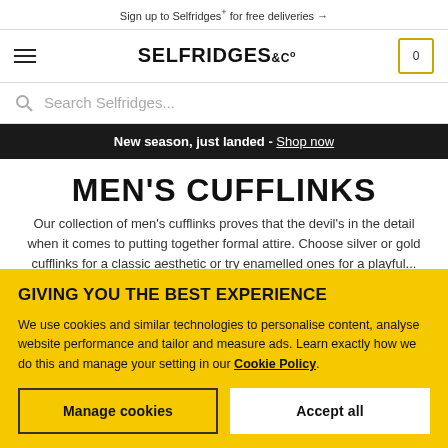Sign up to Selfridges+ for free deliveries →
[Figure (logo): Selfridges & Co logo with hamburger menu and cart icon showing 0]
Search Selfridges...
New season, just landed - Shop now
MEN'S CUFFLINKS
Our collection of men's cufflinks proves that the devil's in the detail when it comes to putting together formal attire. Choose silver or gold cufflinks for a classic aesthetic or try enamelled ones for a playful...
GIVING YOU THE BEST EXPERIENCE
We use cookies and similar technologies to personalise content, analyse website performance and tailor and measure ads. Learn exactly how we do this and manage your setting in our Cookie Policy.
Manage cookies
Accept all